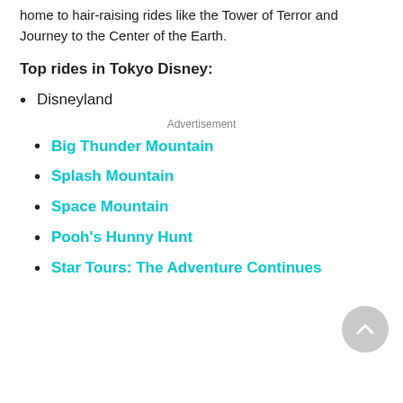home to hair-raising rides like the Tower of Terror and Journey to the Center of the Earth.
Top rides in Tokyo Disney:
Disneyland
Advertisement
Big Thunder Mountain
Splash Mountain
Space Mountain
Pooh's Hunny Hunt
Star Tours: The Adventure Continues